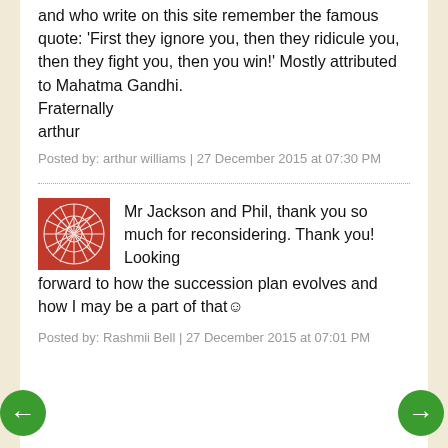and who write on this site remember the famous quote: 'First they ignore you, then they ridicule you, then they fight you, then you win!' Mostly attributed to Mahatma Gandhi. Fraternally
arthur
Posted by: arthur williams | 27 December 2015 at 07:30 PM
Mr Jackson and Phil, thank you so much for reconsidering. Thank you! Looking forward to how the succession plan evolves and how I may be a part of that☺
Posted by: Rashmii Bell | 27 December 2015 at 07:01 PM